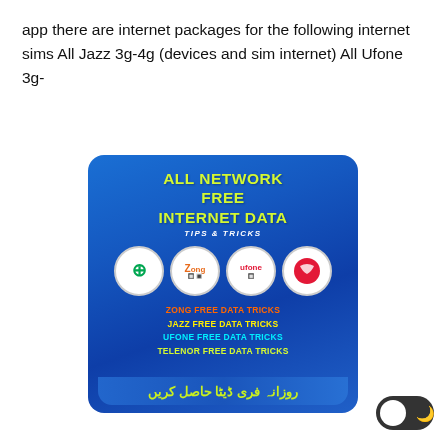app there are internet packages for the following internet sims All Jazz 3g-4g (devices and sim internet) All Ufone 3g-
[Figure (illustration): App promotional image with blue gradient background showing 'ALL NETWORK FREE INTERNET DATA - TIPS & TRICKS' with logos of Telenor, Zong, Ufone, and another network, listing ZONG FREE DATA TRICKS, JAZZ FREE DATA TRICKS, UFONE FREE DATA TRICKS, TELENOR FREE DATA TRICKS, and Urdu text at bottom. A dark mode toggle button appears in bottom right.]